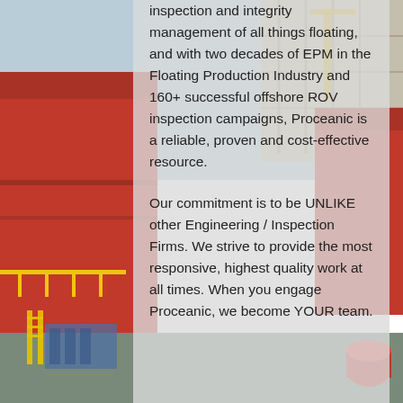[Figure (photo): Offshore industrial facility photograph showing large red hull structures and industrial scaffolding/equipment in a port or shipyard setting]
inspection and integrity management of all things floating, and with two decades of EPM in the Floating Production Industry and 160+ successful offshore ROV inspection campaigns, Proceanic is a reliable, proven and cost-effective resource.

Our commitment is to be UNLIKE other Engineering / Inspection Firms. We strive to provide the most responsive, highest quality work at all times. When you engage Proceanic, we become YOUR team.